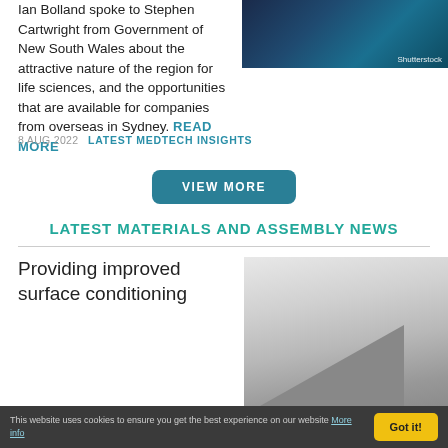Ian Bolland spoke to Stephen Cartwright from Government of New South Wales about the attractive nature of the region for life sciences, and the opportunities that are available for companies from overseas in Sydney. READ MORE
[Figure (photo): Aerial night view of a harbor/port city with boats, Shutterstock watermark]
8 AUG 2022   LATEST MEDTECH INSIGHTS
VIEW MORE
LATEST MATERIALS AND ASSEMBLY NEWS
Providing improved surface conditioning
[Figure (photo): Close-up photo of a textured grey surface material]
This website uses cookies to ensure you get the best experience on our website More info
Got it!